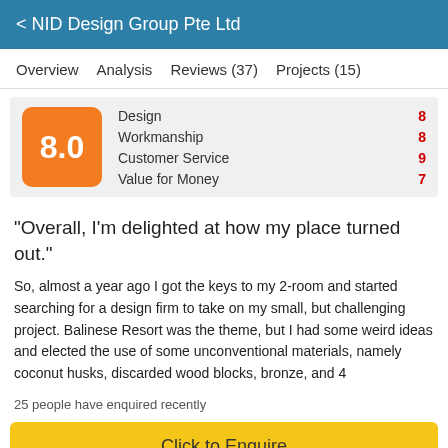< NID Design Group Pte Ltd
Overview   Analysis   Reviews (37)   Projects (15)
| Category | Score |
| --- | --- |
| Design | 8 |
| Workmanship | 8 |
| Customer Service | 9 |
| Value for Money | 7 |
"Overall, I'm delighted at how my place turned out."
So, almost a year ago I got the keys to my 2-room and started searching for a design firm to take on my small, but challenging project. Balinese Resort was the theme, but I had some weird ideas and elected the use of some unconventional materials, namely coconut husks, discarded wood blocks, bronze, and 4
25 people have enquired recently
Click to Enquire